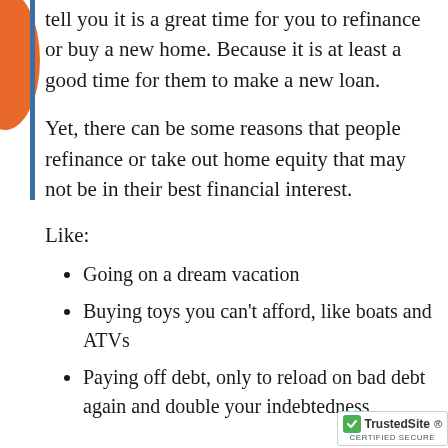tell you it is a great time for you to refinance or buy a new home. Because it is at least a good time for them to make a new loan.
Yet, there can be some reasons that people refinance or take out home equity that may not be in their best financial interest.
Like:
Going on a dream vacation
Buying toys you can't afford, like boats and ATVs
Paying off debt, only to reload on bad debt again and double your indebtedness